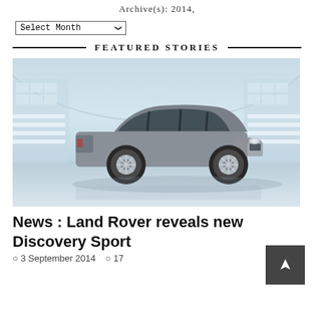Archive(s): 2014
Select Month
FEATURED STORIES
[Figure (photo): A silver Land Rover Discovery Sport SUV photographed in a large modern hangar or showroom with distinctive curved walls, glass panels, and bright lighting reflecting off the floor.]
News : Land Rover reveals new Discovery Sport
3 September 2014  17